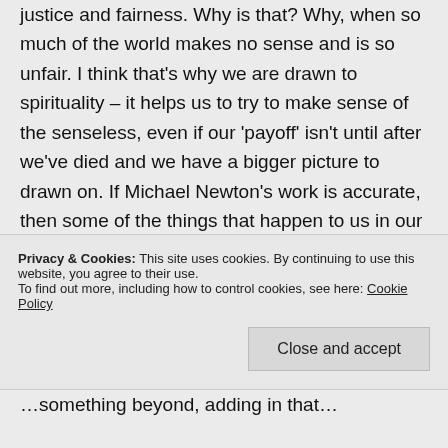justice and fairness. Why is that? Why, when so much of the world makes no sense and is so unfair. I think that's why we are drawn to spirituality – it helps us to try to make sense of the senseless, even if our 'payoff' isn't until after we've died and we have a bigger picture to drawn on. If Michael Newton's work is accurate, then some of the things that happen to us in our lifetimes have nothing to do with the current life we are living, but revolve around some
Privacy & Cookies: This site uses cookies. By continuing to use this website, you agree to their use.
To find out more, including how to control cookies, see here: Cookie Policy
Close and accept
...something beyond, adding in that...